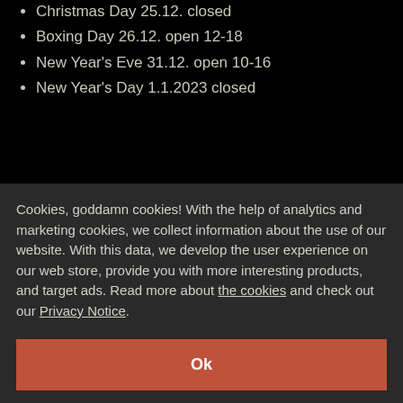Christmas Day 25.12. closed
Boxing Day 26.12. open 12-18
New Year's Eve 31.12. open 10-16
New Year's Day 1.1.2023 closed
Customer service
info@crystalake.com
Cookies, goddamn cookies! With the help of analytics and marketing cookies, we collect information about the use of our website. With this data, we develop the user experience on our web store, provide you with more interesting products, and target ads. Read more about the cookies and check out our Privacy Notice.
Ok